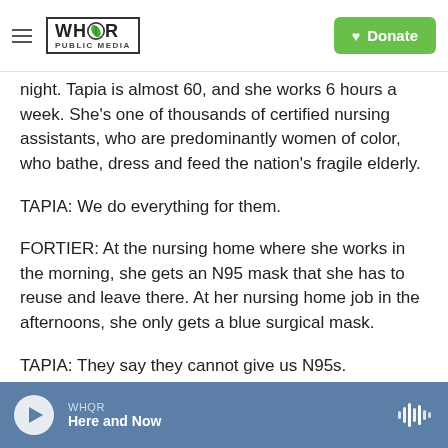WHQR PUBLIC MEDIA | Donate
night. Tapia is almost 60, and she works 6 hours a week. She's one of thousands of certified nursing assistants, who are predominantly women of color, who bathe, dress and feed the nation's fragile elderly.
TAPIA: We do everything for them.
FORTIER: At the nursing home where she works in the morning, she gets an N95 mask that she has to reuse and leave there. At her nursing home job in the afternoons, she only gets a blue surgical mask.
TAPIA: They say they cannot give us N95s.
WHQR | Here and Now